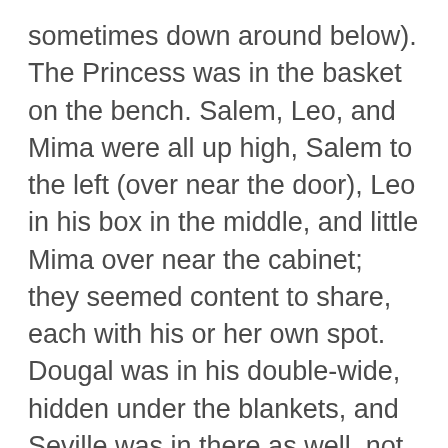sometimes down around below). The Princess was in the basket on the bench. Salem, Leo, and Mima were all up high, Salem to the left (over near the door), Leo in his box in the middle, and little Mima over near the cabinet; they seemed content to share, each with his or her own spot. Dougal was in his double-wide, hidden under the blankets, and Seville was in there as well, not knowing she was sharing her refuge with another cat a few inches away.
MIMA remains a delightful little cat. She explores, she plays, she comes up for attention and welcomes being petted, she goes off and finds comfy spots she likes and settles herself down in them. A perfectly